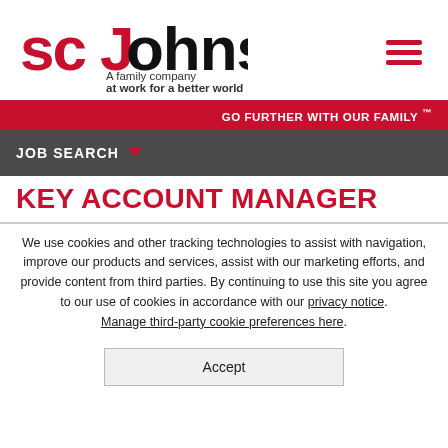[Figure (logo): SC Johnson logo — red stylized 'sc' with a swooping red J, followed by 'ohnson' in black bold text, and below: 'A family company at work for a better world' in dark text]
GO FURTHER WITH OUR FAMILY ™
JOB SEARCH
KEY ACCOUNT MANAGER
We use cookies and other tracking technologies to assist with navigation, improve our products and services, assist with our marketing efforts, and provide content from third parties. By continuing to use this site you agree to our use of cookies in accordance with our privacy notice. Manage third-party cookie preferences here.
Accept